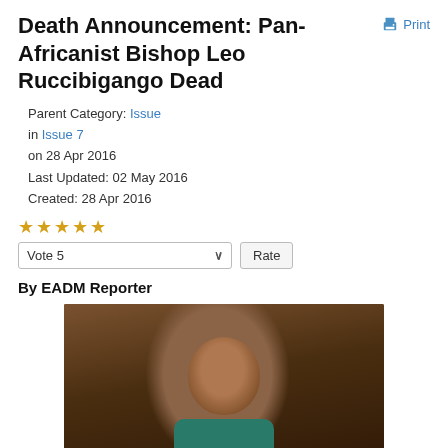Death Announcement: Pan-Africanist Bishop Leo Ruccibigango Dead
Parent Category: Issue
in Issue 7
on 28 Apr 2016
Last Updated: 02 May 2016
Created: 28 Apr 2016
★★★★★
Vote 5  Rate
By EADM Reporter
[Figure (photo): Portrait photo of Bishop Leo Ruccibigango, a middle-aged African man wearing glasses and a teal/green outfit, smiling, photographed indoors against a wooden wall background with metal bars visible on the right side.]